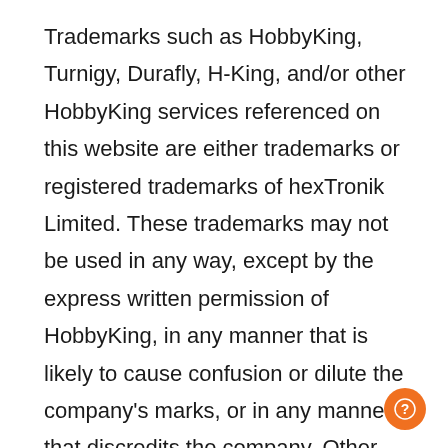Trademarks such as HobbyKing, Turnigy, Durafly, H-King, and/or other HobbyKing services referenced on this website are either trademarks or registered trademarks of hexTronik Limited. These trademarks may not be used in any way, except by the express written permission of HobbyKing, in any manner that is likely to cause confusion or dilute the company's marks, or in any manner that discredits the company. Other product and company names mentioned on this website may be the trademarks or registered trademarks of their
[Figure (other): Orange circular help/question button in bottom-right corner]